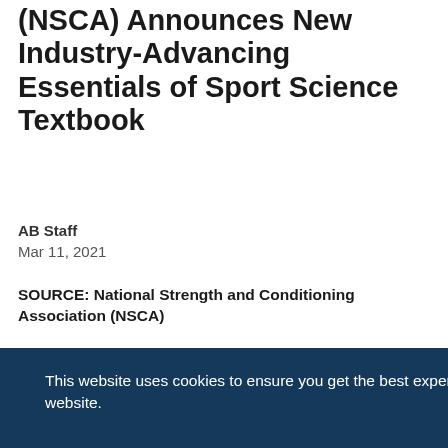(NSCA) Announces New Industry-Advancing Essentials of Sport Science Textbook
AB Staff
Mar 11, 2021
SOURCE: National Strength and Conditioning Association (NSCA)
This website uses cookies to ensure you get the best experience on our website.
Learn more
Got it!
n and oday ook, iting- d to